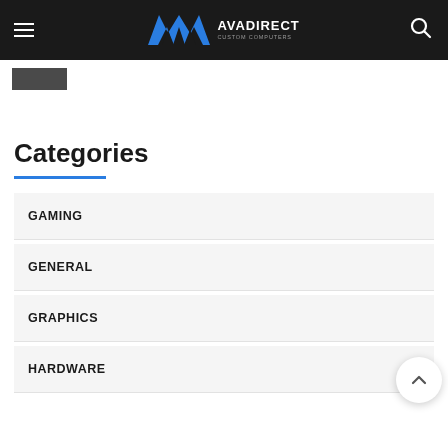AVADirect Custom Computers — navigation header
[Figure (screenshot): Partial product image thumbnail, cropped at top left]
Categories
GAMING
GENERAL
GRAPHICS
HARDWARE